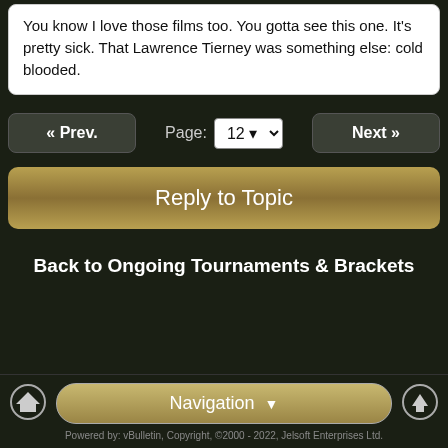You know I love those films too. You gotta see this one. It's pretty sick. That Lawrence Tierney was something else: cold blooded.
« Prev.   Page: 12 ▾   Next »
Reply to Topic
Back to Ongoing Tournaments & Brackets
Navigation ▾   Powered by: vBulletin, Copyright, ©2000 - 2022, Jelsoft Enterprises Ltd.